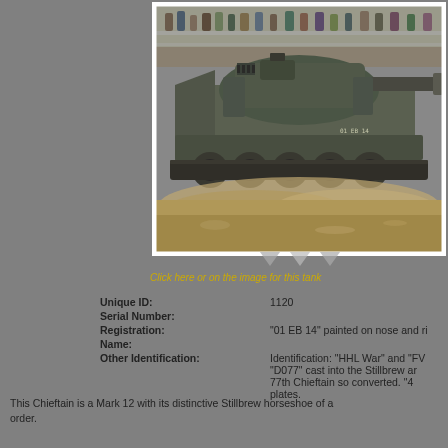[Figure (photo): A Chieftain Mark 12 tank with Stillbrew horseshoe armor moving through dirt/sand at a public display event, spectators visible in background behind barriers. Registration '01 EB 14' visible on hull.]
Click here or on the image for this tank
Unique ID: 1120
Serial Number:
Registration: "01 EB 14" painted on nose and ri...
Name:
Other Identification: Identification: "HHL War" and "FV...
"D077" cast into the Stillbrew ar...
77th Chieftain so converted. "4...
plates.
This Chieftain is a Mark 12 with its distinctive Stillbrew horseshoeof a... order.